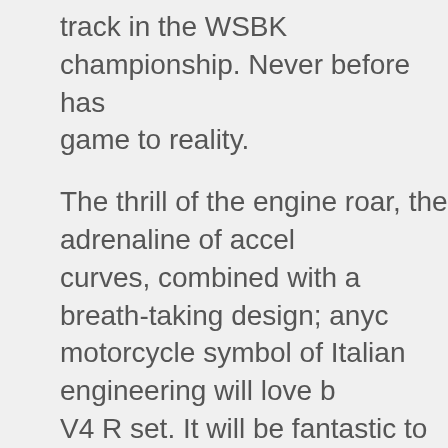track in the WSBK championship. Never before has game to reality.
The thrill of the engine roar, the adrenaline of accel curves, combined with a breath-taking design; anyc motorcycle symbol of Italian engineering will love b V4 R set. It will be fantastic to discover how the inn new LEGO reproduction, activates the V4 engine, a front and rear suspension, to simulate a GP ride an
The LEGO® Technic™ Ducati Panigale V4 R measu cm in width and is the first motorcycle model in LEG simulate different speeds and riding techniques. Oth suspension that give realistic movement, in addition exhaust pipe, windscreen and dashboard are the de version. Last but not least, the red colour that accel